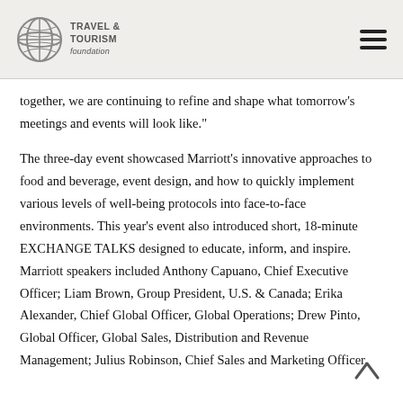Travel & Tourism Foundation
together, we are continuing to refine and shape what tomorrow’s meetings and events will look like.”
The three-day event showcased Marriott’s innovative approaches to food and beverage, event design, and how to quickly implement various levels of well-being protocols into face-to-face environments. This year’s event also introduced short, 18-minute EXCHANGE TALKS designed to educate, inform, and inspire. Marriott speakers included Anthony Capuano, Chief Executive Officer; Liam Brown, Group President, U.S. & Canada; Erika Alexander, Chief Global Officer, Global Operations; Drew Pinto, Global Officer, Global Sales, Distribution and Revenue Management; Julius Robinson, Chief Sales and Marketing Officer,